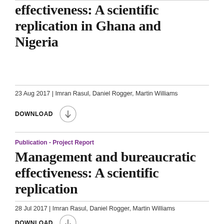effectiveness: A scientific replication in Ghana and Nigeria
23 Aug 2017 | Imran Rasul, Daniel Rogger, Martin Williams
DOWNLOAD
Publication - Project Report
Management and bureaucratic effectiveness: A scientific replication
28 Jul 2017 | Imran Rasul, Daniel Rogger, Martin Williams
DOWNLOAD